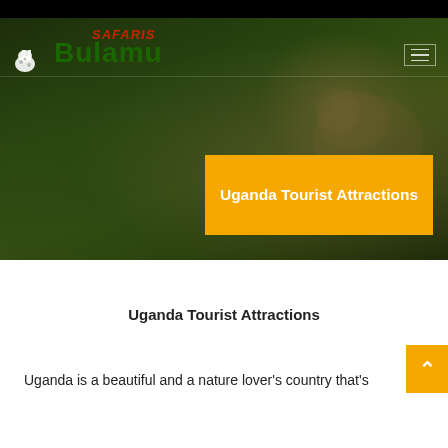[Figure (photo): Hero banner image with dark green jungle/foliage background and animal silhouette (lion/leopard) on the right. Features the Bulamu Safaris logo in the top-left and a yellow title banner reading 'Uganda Tourist Attractions' on the right side.]
Uganda Tourist Attractions
Uganda is a beautiful and a nature lover's country that's